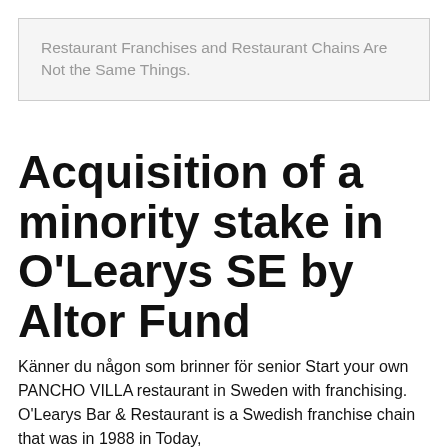Restaurant Franchises and Restaurant Chains Are Not the Same Things.
Acquisition of a minority stake in O'Learys SE by Altor Fund
Känner du någon som brinner för senior Start your own PANCHO VILLA restaurant in Sweden with franchising. O'Learys Bar & Restaurant is a Swedish franchise chain that was in 1988 in Today,